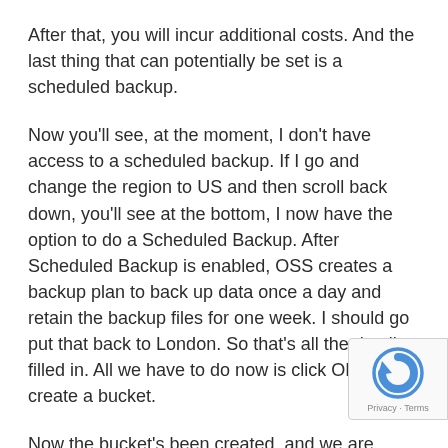After that, you will incur additional costs. And the last thing that can potentially be set is a scheduled backup.
Now you'll see, at the moment, I don't have access to a scheduled backup. If I go and change the region to US and then scroll back down, you'll see at the bottom, I now have the option to do a Scheduled Backup. After Scheduled Backup is enabled, OSS creates a backup plan to back up data once a day and retain the backup files for one week. I should go put that back to London. So that's all the details filled in. All we have to do now is click OK and create a bucket.
Now the bucket's been created, and we are currently on the Overview section. From here, we can see the Basic Statistics. We can view the endpoints and domain names that allow us to